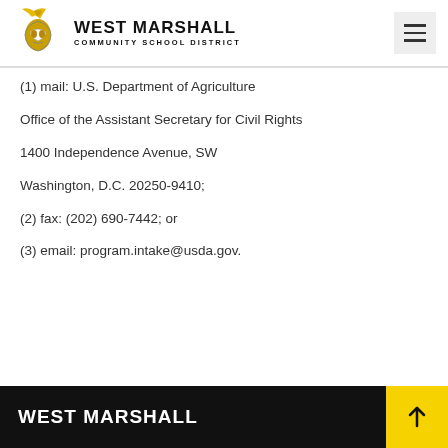WEST MARSHALL COMMUNITY SCHOOL DISTRICT
(1) mail: U.S. Department of Agriculture
Office of the Assistant Secretary for Civil Rights
1400 Independence Avenue, SW
Washington, D.C. 20250-9410;
(2) fax: (202) 690-7442; or
(3) email: program.intake@usda.gov.
WEST MARSHALL